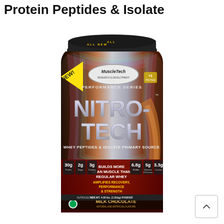Protein Peptides & Isolate
[Figure (photo): MuscleTech NitroTech Performance Series protein powder container, Milk Chocolate flavor, 4.00 lbs (1.81kg), showing NITRO-TECH branding, Whey Peptides & Isolate Primary Source, 30g Protein, 2g Sugar, 3g Creatine, 6.8g BCAAs, 5g Glutamine & Precursor, 3.3g Leucine, Builds More Lean Muscle Than Regular Whey, Amplifies Recovery Performance & Strength, NET WT. 4.00 lbs (1.81kg) POWDER, NUTRACEUTICAL label, NEW! badge, India green circle flag mark.]